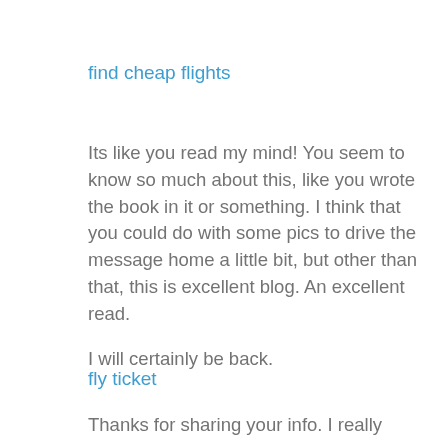find cheap flights
Its like you read my mind! You seem to know so much about this, like you wrote the book in it or something. I think that you could do with some pics to drive the message home a little bit, but other than that, this is excellent blog. An excellent read.

I will certainly be back.
fly ticket
Thanks for sharing your info. I really